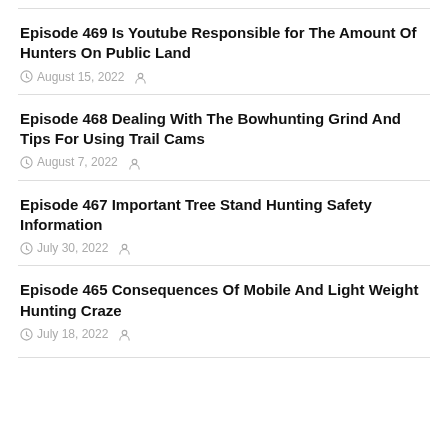Episode 469 Is Youtube Responsible for The Amount Of Hunters On Public Land
August 15, 2022
Episode 468 Dealing With The Bowhunting Grind And Tips For Using Trail Cams
August 7, 2022
Episode 467 Important Tree Stand Hunting Safety Information
July 30, 2022
Episode 465 Consequences Of Mobile And Light Weight Hunting Craze
July 18, 2022